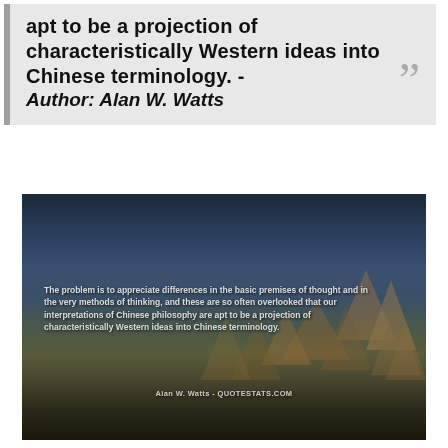apt to be a projection of characteristically Western ideas into Chinese terminology. - Author: Alan W. Watts
[Figure (photo): Dark nighttime outdoor photo with geometric pyramid/triangular shapes on the ground. Overlaid text reads the Alan W. Watts quote and 'Alan W. Watts - QUOTESTATS.COM' attribution.]